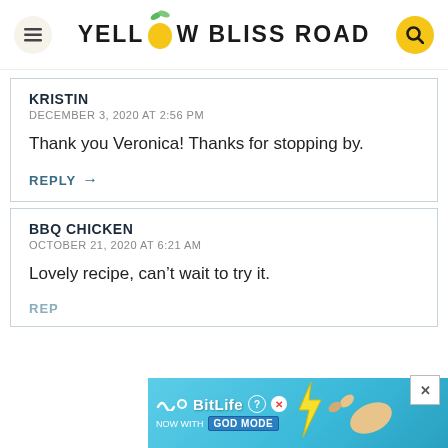YELLOW BLISS ROAD
KRISTIN
DECEMBER 3, 2020 AT 2:56 PM

Thank you Veronica! Thanks for stopping by.

REPLY →
BBQ CHICKEN
OCTOBER 21, 2020 AT 6:21 AM

Lovely recipe, can't wait to try it.

REP…
[Figure (screenshot): BitLife advertisement banner with 'NOW WITH GOD MODE' text and lightning bolt graphic]